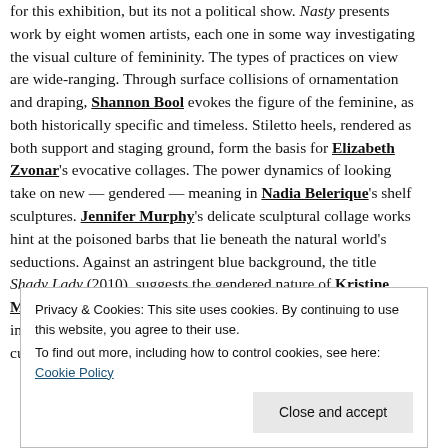for this exhibition, but its not a political show. Nasty presents work by eight women artists, each one in some way investigating the visual culture of femininity. The types of practices on view are wide-ranging. Through surface collisions of ornamentation and draping, Shannon Bool evokes the figure of the feminine, as both historically specific and timeless. Stiletto heels, rendered as both support and staging ground, form the basis for Elizabeth Zvonar's evocative collages. The power dynamics of looking take on new — gendered — meaning in Nadia Belerique's shelf sculptures. Jennifer Murphy's delicate sculptural collage works hint at the poisoned barbs that lie beneath the natural world's seductions. Against an astringent blue background, the title Shady Lady (2010), suggests the gendered nature of Kristine Moran's gestural abstractions. Aleesa Cohene's 2009 video installation Like, Like discovers ulterior narratives for mass culture's female
Privacy & Cookies: This site uses cookies. By continuing to use this website, you agree to their use. To find out more, including how to control cookies, see here: Cookie Policy